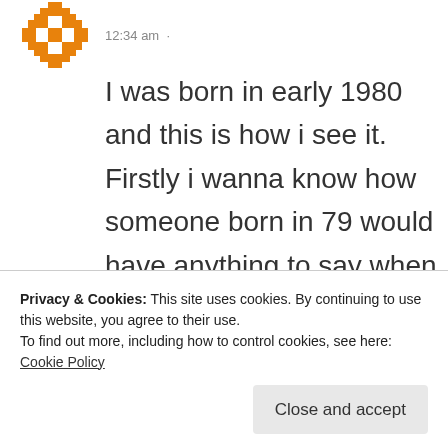[Figure (illustration): Orange pixelated/geometric avatar icon]
12:34 am
I was born in early 1980 and this is how i see it. Firstly i wanna know how someone born in 79 would have anything to say when their lives were of direct contact to someone born in 80 or 81 just like how its reverse applies as well. I
Privacy & Cookies: This site uses cookies. By continuing to use this website, you agree to their use.
To find out more, including how to control cookies, see here: Cookie Policy
Close and accept